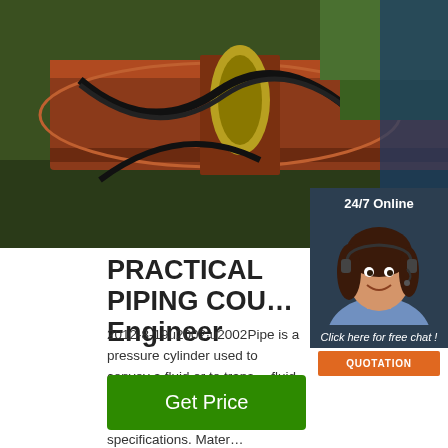[Figure (photo): Industrial piping photo showing large pipes with cables, close-up view of pipe fittings in an industrial setting]
[Figure (photo): Customer service representative with headset, smiling, shown in sidebar with '24/7 Online' header and 'Click here for free chat!' text with orange QUOTATION button]
PRACTICAL PIPING COU… Engineer
2012-8-19u2002·u2002Pipe is a pressure cylinder used to convey a fluid or to transmit fluid pressure, ordinarily designated pipe in applicable material specifications. Material designated tube or tubing in the specifications treated as pipe when intended for pressure service.
Get Price